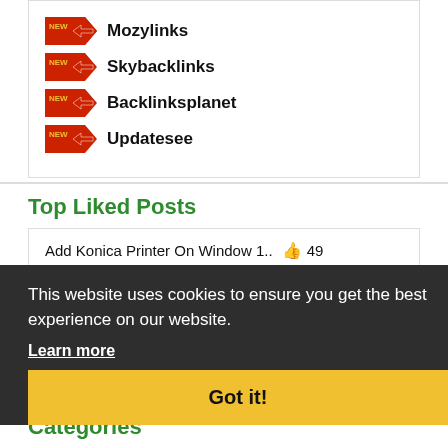Mozylinks
Skybacklinks
Backlinksplanet
Updatesee
Top Liked Posts
Add Konica Printer On Window 1.. 👍 49
Brother printer installation.. 👍 47
This website uses cookies to ensure you get the best experience on our website.
Learn more
Brother Printer Support.. 👍 46
Got it!
HP Envy 5000 printer o... 👍 44
Categories